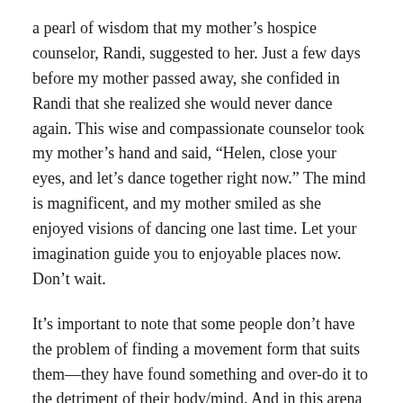a pearl of wisdom that my mother’s hospice counselor, Randi, suggested to her. Just a few days before my mother passed away, she confided in Randi that she realized she would never dance again. This wise and compassionate counselor took my mother’s hand and said, “Helen, close your eyes, and let’s dance together right now.” The mind is magnificent, and my mother smiled as she enjoyed visions of dancing one last time. Let your imagination guide you to enjoyable places now. Don’t wait.
It’s important to note that some people don’t have the problem of finding a movement form that suits them—they have found something and over-do it to the detriment of their body/mind. And in this arena of health concerns, if you or someone you love deals with disordered eating and over-exercising, Peach Friedman’s captivating book, Diary of an Exercise Addict, provides inspiration and support for healing.